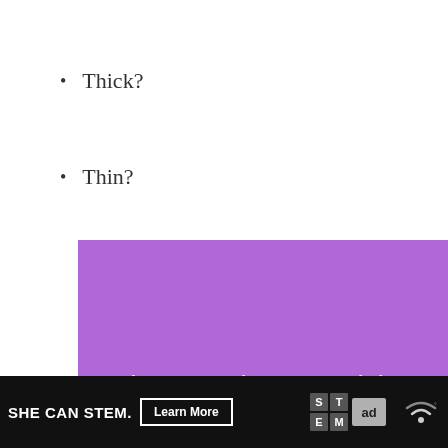Thick?
Thin?
[Figure (screenshot): Purple cookie consent overlay dialog with text: 'This site uses cookies to give you the best possible experience. By using the website, you accept this. Learn more.' Two buttons: green 'Accept' and outlined 'X'.]
Keep in mind the amount of space in your shoes!
SHE CAN STEM. Learn More [ad council logo] [STEM logo]